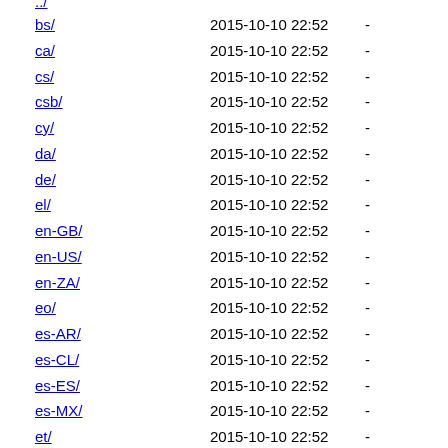bs/ 2015-10-10 22:52 -
ca/ 2015-10-10 22:52 -
cs/ 2015-10-10 22:52 -
csb/ 2015-10-10 22:52 -
cy/ 2015-10-10 22:52 -
da/ 2015-10-10 22:52 -
de/ 2015-10-10 22:52 -
el/ 2015-10-10 22:52 -
en-GB/ 2015-10-10 22:52 -
en-US/ 2015-10-10 22:52 -
en-ZA/ 2015-10-10 22:52 -
eo/ 2015-10-10 22:52 -
es-AR/ 2015-10-10 22:52 -
es-CL/ 2015-10-10 22:52 -
es-ES/ 2015-10-10 22:52 -
es-MX/ 2015-10-10 22:52 -
et/ 2015-10-10 22:52 -
eu/ 2015-10-10 22:52 -
fa/ 2015-10-10 22:52 -
ff/ 2015-10-10 22:52 -